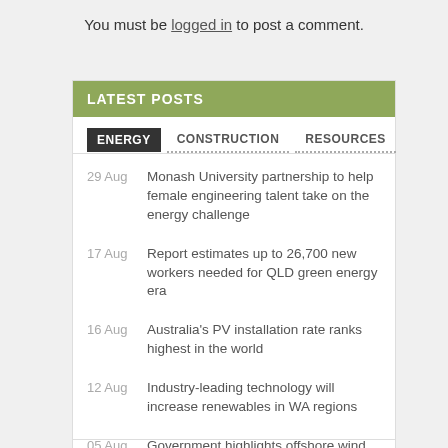You must be logged in to post a comment.
LATEST POSTS
ENERGY   CONSTRUCTION   RESOURCES
29 Aug — Monash University partnership to help female engineering talent take on the energy challenge
17 Aug — Report estimates up to 26,700 new workers needed for QLD green energy era
16 Aug — Australia's PV installation rate ranks highest in the world
12 Aug — Industry-leading technology will increase renewables in WA regions
05 Aug — Government highlights offshore wind potential for six Australian regions